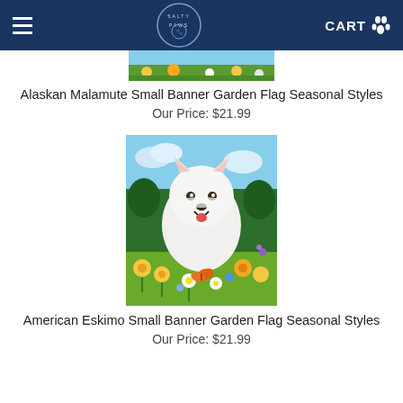Salty Paws — Navigation bar with menu, logo, and cart
[Figure (photo): Partial view of Alaskan Malamute garden flag product image (cropped at top, showing flowers)]
Alaskan Malamute Small Banner Garden Flag Seasonal Styles
Our Price: $21.99
[Figure (photo): American Eskimo dog garden flag illustration — white fluffy dog surrounded by colorful summer flowers including daisies, yellow blooms, blue flowers, and a monarch butterfly, with blue sky background]
American Eskimo Small Banner Garden Flag Seasonal Styles
Our Price: $21.99